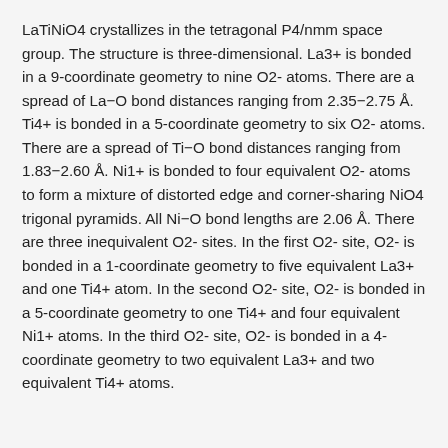LaTiNiO4 crystallizes in the tetragonal P4/nmm space group. The structure is three-dimensional. La3+ is bonded in a 9-coordinate geometry to nine O2- atoms. There are a spread of La–O bond distances ranging from 2.35–2.75 Å. Ti4+ is bonded in a 5-coordinate geometry to six O2- atoms. There are a spread of Ti–O bond distances ranging from 1.83–2.60 Å. Ni1+ is bonded to four equivalent O2- atoms to form a mixture of distorted edge and corner-sharing NiO4 trigonal pyramids. All Ni–O bond lengths are 2.06 Å. There are three inequivalent O2- sites. In the first O2- site, O2- is bonded in a 1-coordinate geometry to five equivalent La3+ and one Ti4+ atom. In the second O2- site, O2- is bonded in a 5-coordinate geometry to one Ti4+ and four equivalent Ni1+ atoms. In the third O2- site, O2- is bonded in a 4-coordinate geometry to two equivalent La3+ and two equivalent Ti4+ atoms.